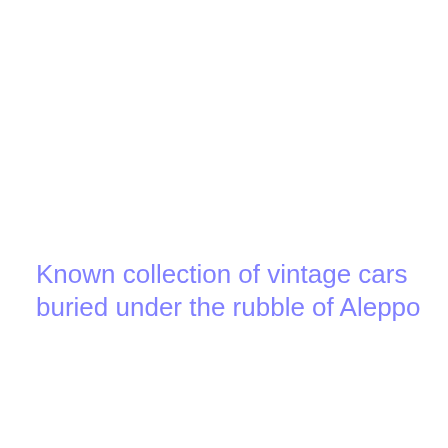Known collection of vintage cars buried under the rubble of Aleppo